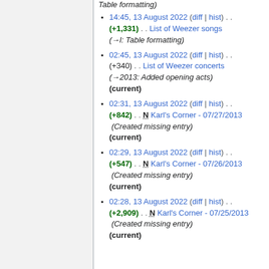14:45, 13 August 2022 (diff | hist) . . (+1,331) . . List of Weezer songs (→l: Table formatting)
02:45, 13 August 2022 (diff | hist) . . (+340) . . List of Weezer concerts (→2013: Added opening acts) (current)
02:31, 13 August 2022 (diff | hist) . . (+842) . . N Karl's Corner - 07/27/2013 (Created missing entry) (current)
02:29, 13 August 2022 (diff | hist) . . (+547) . . N Karl's Corner - 07/26/2013 (Created missing entry) (current)
02:28, 13 August 2022 (diff | hist) . . (+2,909) . . N Karl's Corner - 07/25/2013 (Created missing entry) (current)